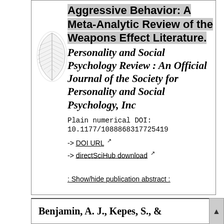Aggressive Behavior: A Meta-Analytic Review of the Weapons Effect Literature. Personality and Social Psychology Review : An Official Journal of the Society for Personality and Social Psychology, Inc
Plain numerical DOI:
10.1177/1088868317725419
-> DOI URL
-> directSciHub download
: Show/hide publication abstract :
Benjamin, A. J., Kepes, S., &